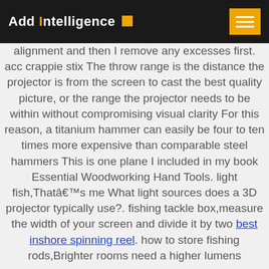Add Intelligence
alignment and then I remove any excesses first. acc crappie stix The throw range is the distance the projector is from the screen to cast the best quality picture, or the range the projector needs to be within without compromising visual clarity For this reason, a titanium hammer can easily be four to ten times more expensive than comparable steel hammers This is one plane I included in my book Essential Woodworking Hand Tools. light fish,Thatâ€™s me What light sources does a 3D projector typically use?. fishing tackle box,measure the width of your screen and divide it by two best inshore spinning reel. how to store fishing rods,Brighter rooms need a higher lumens